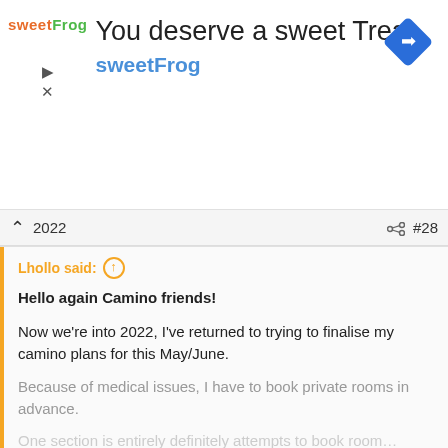[Figure (infographic): sweetFrog advertisement banner with logo, text 'You deserve a sweet Treat', brand name 'sweetFrog', and a blue diamond navigation icon]
2022  #28
Lhollo said: ↑

Hello again Camino friends!

Now we're into 2022, I've returned to trying to finalise my camino plans for this May/June.

Because of medical issues, I have to book private rooms in advance.

One section is entirely def... attempts to book rooms, and I take

Click to expand...
Terradillos - Jaques de Molay
The largest online Community on the Camino de Santiago. Helping pilgrims travel to Santiago de Compostela. Register (free) or Log in to join.